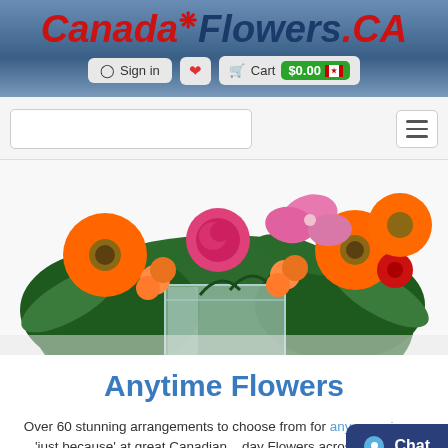CanadaFlowers.CA — Sign in | Cart $0.00
[Figure (photo): Colorful flower arrangement with orange gerberas, pink lilies, pink roses, and greenery in a square glass vase]
Anytime Flowers
Over 60 stunning arrangements to choose from for any occasion or 'just because' at great Canadian... day Flowers across Canada.